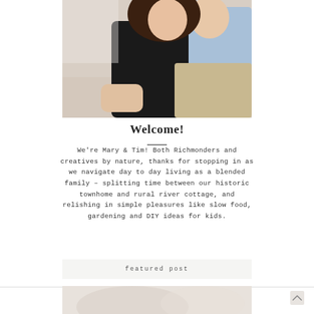[Figure (photo): A couple sitting together casually on a couch, the woman wearing black and the man in a light blue shirt, photographed in a light interior setting.]
Welcome!
We're Mary & Tim! Both Richmonders and creatives by nature, thanks for stopping in as we navigate day to day living as a blended family – splitting time between our historic townhome and rural river cottage, and relishing in simple pleasures like slow food, gardening and DIY ideas for kids.
featured post
[Figure (photo): Partial view of a softly lit photo, appears to show light-colored textile or pillow in a home setting.]